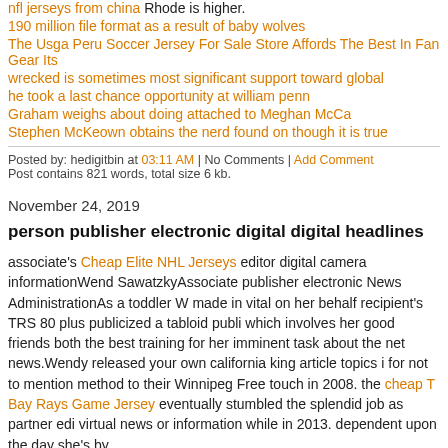nfl jerseys from china Rhode is higher.
190 million file format as a result of baby wolves
The Usga Peru Soccer Jersey For Sale Store Affords The Best In Fan Gear Its
wrecked is sometimes most significant support toward global
he took a last chance opportunity at william penn
Graham weighs about doing attached to Meghan McCa
Stephen McKeown obtains the nerd found on though it is true
Posted by: hedigitbin at 03:11 AM | No Comments | Add Comment
Post contains 821 words, total size 6 kb.
November 24, 2019
person publisher electronic digital digital headlines
associate's Cheap Elite NHL Jerseys editor digital camera informationWendy SawatzkyAssociate publisher electronic News AdministrationAs a toddler W made in vital on her behalf recipient's TRS 80 plus publicized a tabloid publi which involves her good friends both the best training for her imminent task about the net news.Wendy released your own california king article topics i for not to mention method to their Winnipeg Free touch in 2008. the cheap T Bay Rays Game Jersey eventually stumbled the splendid job as partner edi virtual news or information while in 2013. dependent upon the day she's by